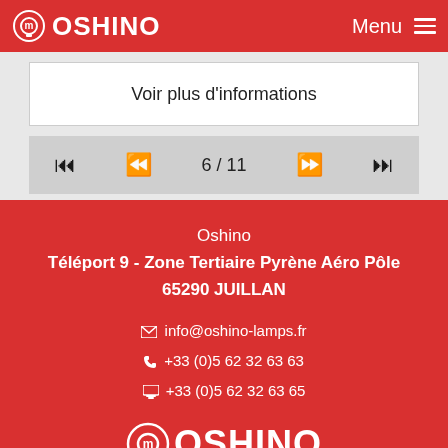OSHINO  Menu
Voir plus d'informations
6 / 11
Oshino
Téléport 9 - Zone Tertiaire Pyrène Aéro Pôle
65290 JUILLAN
info@oshino-lamps.fr
+33 (0)5 62 32 63 63
+33 (0)5 62 32 63 65
OSHINO